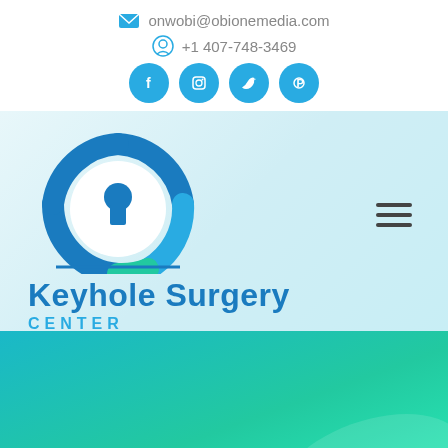onwobi@obionemedia.com
+1 407-748-3469
[Figure (logo): Social media icons: Facebook, Instagram, Twitter, Pinterest — blue circles]
[Figure (logo): Keyhole Surgery Center logo with keyhole icon and text]
[Figure (illustration): Teal/turquoise gradient background section at the bottom of the page]